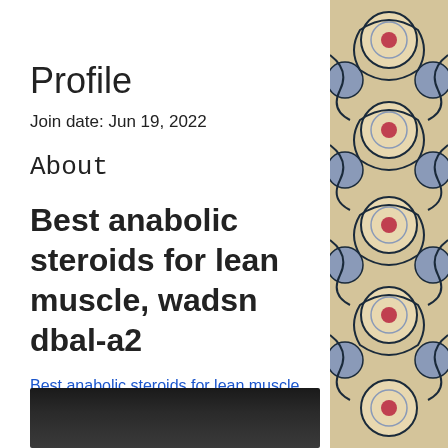Profile
Join date: Jun 19, 2022
About
Best anabolic steroids for lean muscle, wadsn dbal-a2
Best anabolic steroids for lean muscle, wadsn dbal-a2 - Legal steroids for sale
[Figure (photo): Dark image at bottom of content area]
[Figure (photo): Decorative textile or carpet pattern in right column with blue, red, cream colors and floral/ikat motifs]